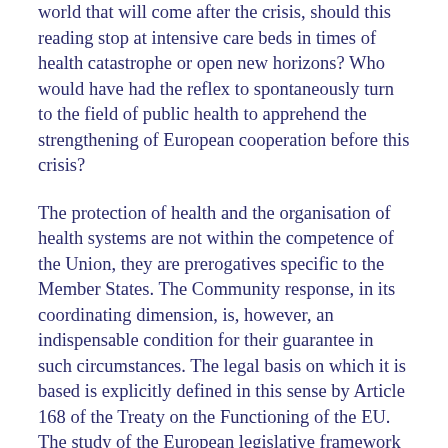world that will come after the crisis, should this reading stop at intensive care beds in times of health catastrophe or open new horizons? Who would have had the reflex to spontaneously turn to the field of public health to apprehend the strengthening of European cooperation before this crisis?
The protection of health and the organisation of health systems are not within the competence of the Union, they are prerogatives specific to the Member States. The Community response, in its coordinating dimension, is, however, an indispensable condition for their guarantee in such circumstances. The legal basis on which it is based is explicitly defined in this sense by Article 168 of the Treaty on the Functioning of the EU. The study of the European legislative framework on serious cross-border health threats3 is particularly instructive here, including point (8) of Decision No. 1082/2013/EU4 which reminds us that "the protection of human health is a cross-cutting subject and relevant to many EU policies and actions." The reference at the